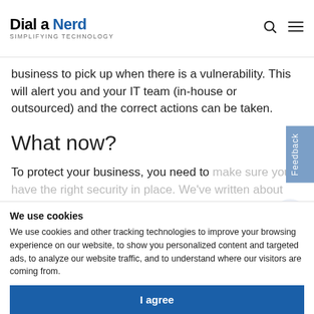Dial a Nerd SIMPLIFYING TECHNOLOGY
business to pick up when there is a vulnerability. This will alert you and your IT team (in-house or outsourced) and the correct actions can be taken.
What now?
To protect your business, you need to make sure you have the right security in place. We've written about this many times. Have a read here.
We use cookies
We use cookies and other tracking technologies to improve your browsing experience on our website, to show you personalized content and targeted ads, to analyze our website traffic, and to understand where our visitors are coming from.
I agree